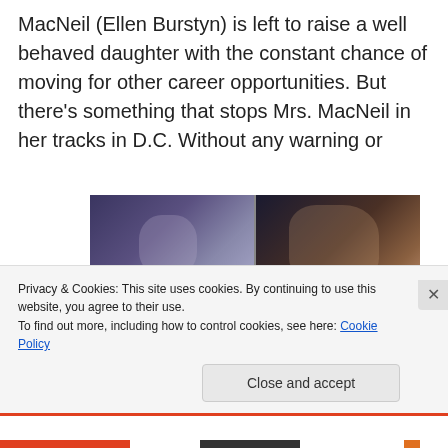MacNeil (Ellen Burstyn) is left to raise a well behaved daughter with the constant chance of moving for other career opportunities. But there’s something that stops Mrs. MacNeil in her tracks in D.C. Without any warning or
[Figure (photo): A 2x2 grid of dark horror movie stills, showing scenes from what appears to be The Exorcist — figures in distress, a possessed girl with disheveled hair and dark eyes.]
Privacy & Cookies: This site uses cookies. By continuing to use this website, you agree to their use.
To find out more, including how to control cookies, see here: Cookie Policy
Close and accept